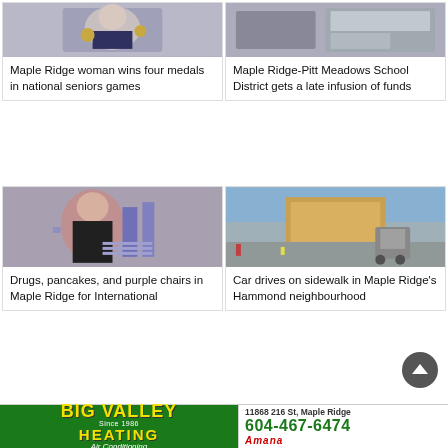[Figure (photo): Woman holding medals at senior games]
Maple Ridge woman wins four medals in national seniors games
[Figure (photo): Building exterior for Maple Ridge-Pitt Meadows School District]
Maple Ridge-Pitt Meadows School District gets a late infusion of funds
[Figure (photo): Woman with purple hair standing near purple chairs outdoors]
Drugs, pancakes, and purple chairs in Maple Ridge for International
[Figure (photo): Large wooden crate on truck driving on sidewalk in Hammond neighbourhood]
Car drives on sidewalk in Maple Ridge’s Hammond neighbourhood
[Figure (advertisement): Big Valley Heating and Air Conditioning ad with phone number 604-467-6474, address 11868 216 St Maple Ridge, Amana logo]